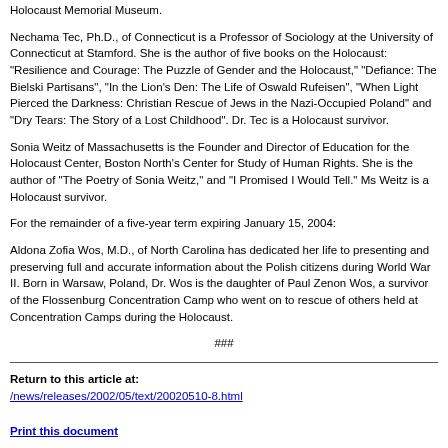Holocaust Memorial Museum.
Nechama Tec, Ph.D., of Connecticut is a Professor of Sociology at the University of Connecticut at Stamford. She is the author of five books on the Holocaust: "Resilience and Courage: The Puzzle of Gender and the Holocaust," "Defiance: The Bielski Partisans", "In the Lion's Den: The Life of Oswald Rufeisen", "When Light Pierced the Darkness: Christian Rescue of Jews in the Nazi-Occupied Poland" and "Dry Tears: The Story of a Lost Childhood". Dr. Tec is a Holocaust survivor.
Sonia Weitz of Massachusetts is the Founder and Director of Education for the Holocaust Center, Boston North's Center for Study of Human Rights. She is the author of "The Poetry of Sonia Weitz," and "I Promised I Would Tell." Ms Weitz is a Holocaust survivor.
For the remainder of a five-year term expiring January 15, 2004:
Aldona Zofia Wos, M.D., of North Carolina has dedicated her life to presenting and preserving full and accurate information about the Polish citizens during World War II. Born in Warsaw, Poland, Dr. Wos is the daughter of Paul Zenon Wos, a survivor of the Flossenburg Concentration Camp who went on to rescue of others held at Concentration Camps during the Holocaust.
###
Return to this article at:
/news/releases/2002/05/text/20020510-8.html

Print this document